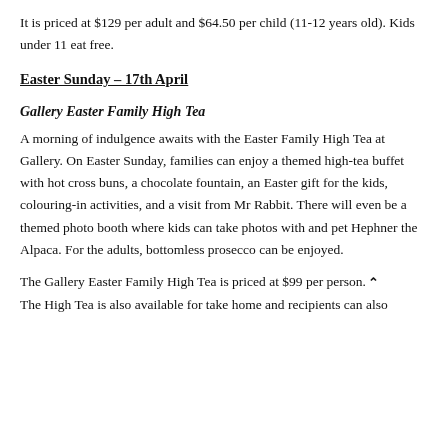It is priced at $129 per adult and $64.50 per child (11-12 years old). Kids under 11 eat free.
Easter Sunday – 17th April
Gallery Easter Family High Tea
A morning of indulgence awaits with the Easter Family High Tea at Gallery. On Easter Sunday, families can enjoy a themed high-tea buffet with hot cross buns, a chocolate fountain, an Easter gift for the kids, colouring-in activities, and a visit from Mr Rabbit. There will even be a themed photo booth where kids can take photos with and pet Hephner the Alpaca. For the adults, bottomless prosecco can be enjoyed.
The Gallery Easter Family High Tea is priced at $99 per person. The High Tea is also available for take home and recipients can also...